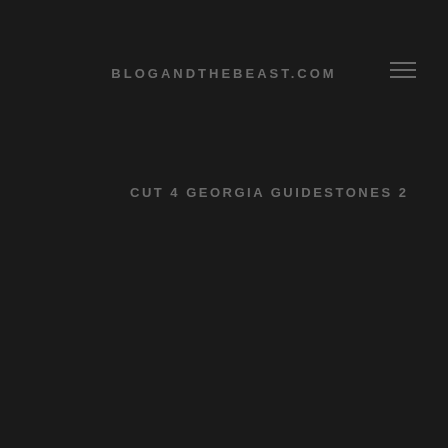BLOGANDTHEBEAST.COM
CUT 4 GEORGIA GUIDESTONES 2